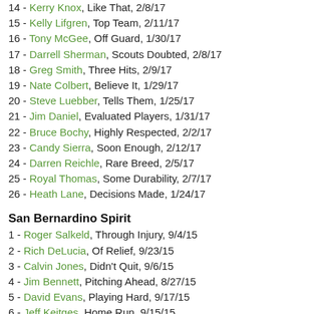14 - Kerry Knox, Like That, 2/8/17
15 - Kelly Lifgren, Top Team, 2/11/17
16 - Tony McGee, Off Guard, 1/30/17
17 - Darrell Sherman, Scouts Doubted, 2/8/17
18 - Greg Smith, Three Hits, 2/9/17
19 - Nate Colbert, Believe It, 1/29/17
20 - Steve Luebber, Tells Them, 1/25/17
21 - Jim Daniel, Evaluated Players, 1/31/17
22 - Bruce Bochy, Highly Respected, 2/2/17
23 - Candy Sierra, Soon Enough, 2/12/17
24 - Darren Reichle, Rare Breed, 2/5/17
25 - Royal Thomas, Some Durability, 2/7/17
26 - Heath Lane, Decisions Made, 1/24/17
San Bernardino Spirit
1 - Roger Salkeld, Through Injury, 9/4/15
2 - Rich DeLucia, Of Relief, 9/23/15
3 - Calvin Jones, Didn't Quit, 9/6/15
4 - Jim Bennett, Pitching Ahead, 8/27/15
5 - David Evans, Playing Hard, 9/17/15
6 - Jeff Keitges, Home Run, 9/15/15
7 - Isaiah Clark, Mature Person, 8/30/15
8 - Chuck Kniffin, With Strength, 8/7/15